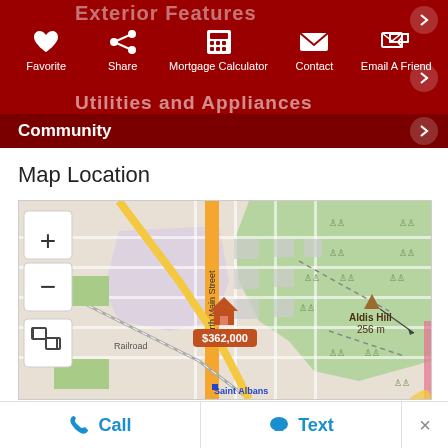Exterior Features / Utilities and Appliances / Community — toolbar with Favorite, Share, Mortgage Calculator, Contact, Email A Friend
Map Location
[Figure (map): Street map showing Saint Albans area with North Main Street, Railroad, Aldis Hill 256m, and a property marker showing $362,000]
Call | Text | ×